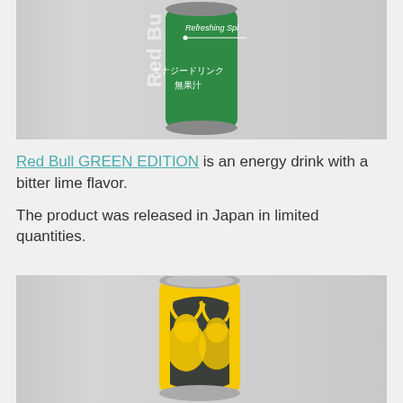[Figure (photo): Red Bull GREEN EDITION energy drink can, green colored with Japanese text エナジードリンク 無果汁 and 'Refreshing Spl...' text, photographed against light gray background]
Red Bull GREEN EDITION is an energy drink with a bitter lime flavor.
The product was released in Japan in limited quantities.
[Figure (photo): Red Bull energy drink can with yellow and dark navy blue design featuring the Red Bull bull logo, photographed against light gray background]